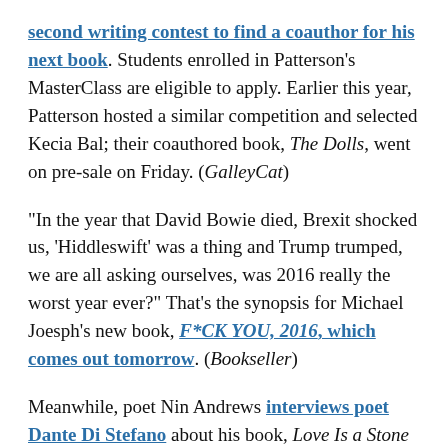second writing contest to find a coauthor for his next book. Students enrolled in Patterson's MasterClass are eligible to apply. Earlier this year, Patterson hosted a similar competition and selected Kecia Bal; their coauthored book, The Dolls, went on pre-sale on Friday. (GalleyCat)
"In the year that David Bowie died, Brexit shocked us, 'Hiddleswift' was a thing and Trump trumped, we are all asking ourselves, was 2016 really the worst year ever?" That's the synopsis for Michael Joesph's new book, F*CK YOU, 2016, which comes out tomorrow. (Bookseller)
Meanwhile, poet Nin Andrews interviews poet Dante Di Stefano about his book, Love Is a Stone Endlessly in Flight, as well as the anthology Di Stefano is editing in response to Trump's impending presidency. (Post